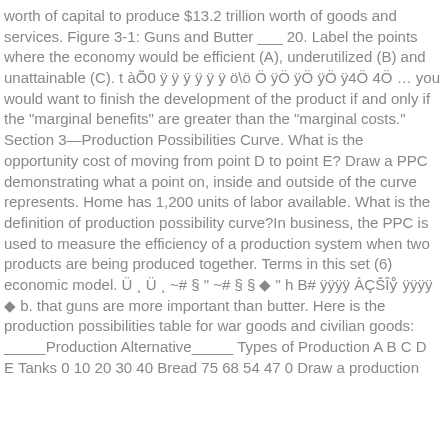worth of capital to produce $13.2 trillion worth of goods and services. Figure 3-1: Guns and Butter ___ 20. Label the points where the economy would be efficient (A), underutilized (B) and unattainable (C). t àÕ0 ÿ ÿ ÿ ÿ ÿ ÿ ö\ö Ö ÿÖ ÿÖ ÿÖ ÿ4Ö 4Ö … you would want to finish the development of the product if and only if the "marginal benefits" are greater than the "marginal costs." Section 3—Production Possibilities Curve. What is the opportunity cost of moving from point D to point E? Draw a PPC demonstrating what a point on, inside and outside of the curve represents. Home has 1,200 units of labor available. What is the definition of production possibility curve?In business, the PPC is used to measure the efficiency of a production system when two products are being produced together. Terms in this set (6) economic model. Ü ¸ Ü ¸ ~# § " ~# § § ◆ " h B# ÿÿÿÿ ÀÇŠÎẙ ÿÿÿÿ ◆ b. that guns are more important than butter. Here is the production possibilities table for war goods and civilian goods: _____Production Alternative_____ Types of Production A B C D E Tanks 0 10 20 30 40 Bread 75 68 54 47 0 Draw a production